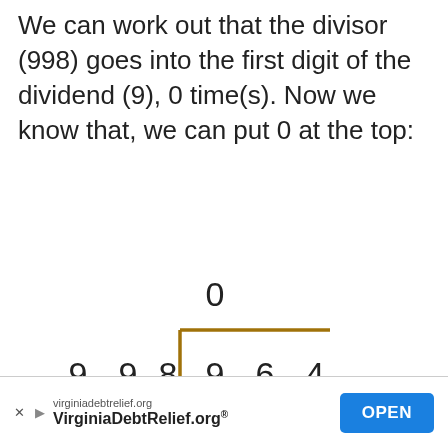We can work out that the divisor (998) goes into the first digit of the dividend (9), 0 time(s). Now we know that, we can put 0 at the top:
[Figure (math-figure): Long division diagram showing 998 dividing 964 with 0 placed above the dividend. A brown L-shaped bracket separates the divisor (9 9 8) on the left from the dividend (9 6 4) on the right, with 0 written above the bracket over the first digit of the dividend.]
virginiadebtrelief.org VirginiaDebtRelief.org® OPEN